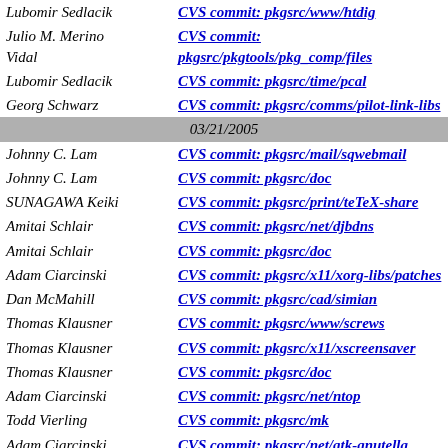| Name | Commit |
| --- | --- |
| Lubomir Sedlacik | CVS commit: pkgsrc/www/htdig |
| Julio M. Merino Vidal | CVS commit: pkgsrc/pkgtools/pkg_comp/files |
| Lubomir Sedlacik | CVS commit: pkgsrc/time/pcal |
| Georg Schwarz | CVS commit: pkgsrc/comms/pilot-link-libs |
| 03/21/2005 |  |
| Johnny C. Lam | CVS commit: pkgsrc/mail/sqwebmail |
| Johnny C. Lam | CVS commit: pkgsrc/doc |
| SUNAGAWA Keiki | CVS commit: pkgsrc/print/teTeX-share |
| Amitai Schlair | CVS commit: pkgsrc/net/djbdns |
| Amitai Schlair | CVS commit: pkgsrc/doc |
| Adam Ciarcinski | CVS commit: pkgsrc/x11/xorg-libs/patches |
| Dan McMahill | CVS commit: pkgsrc/cad/simian |
| Thomas Klausner | CVS commit: pkgsrc/www/screws |
| Thomas Klausner | CVS commit: pkgsrc/x11/xscreensaver |
| Thomas Klausner | CVS commit: pkgsrc/doc |
| Adam Ciarcinski | CVS commit: pkgsrc/net/ntop |
| Todd Vierling | CVS commit: pkgsrc/mk |
| Adam Ciarcinski | CVS commit: pkgsrc/net/gtk-gnutella |